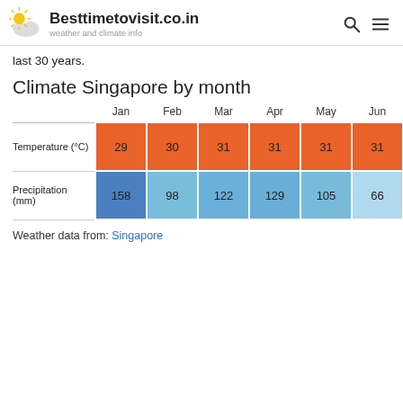Besttimetovisit.co.in — weather and climate info
last 30 years.
Climate Singapore by month
|  | Jan | Feb | Mar | Apr | May | Jun |
| --- | --- | --- | --- | --- | --- | --- |
| Temperature (°C) | 29 | 30 | 31 | 31 | 31 | 31 |
| Precipitation (mm) | 158 | 98 | 122 | 129 | 105 | 66 |
Weather data from: Singapore